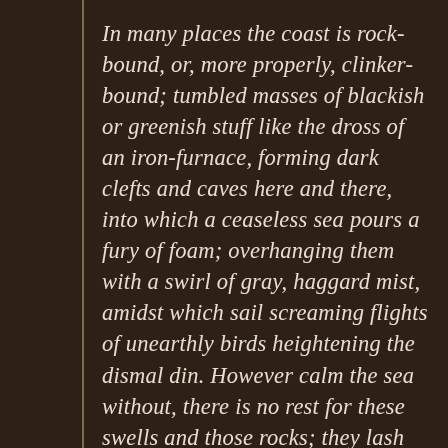In many places the coast is rock-bound, or, more properly, clinker-bound; tumbled masses of blackish or greenish stuff like the dross of an iron-furnace, forming dark clefts and caves here and there, into which a ceaseless sea pours a fury of foam; overhanging them with a swirl of gray, haggard mist, amidst which sail screaming flights of unearthly birds heightening the dismal din. However calm the sea without, there is no rest for these swells and those rocks; they lash and are lashed, even when the outer ocean is most at peace with, itself. On the